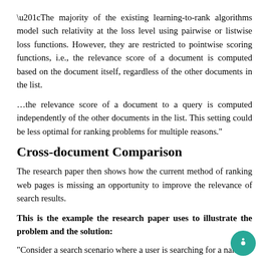“The majority of the existing learning-to-rank algorithms model such relativity at the loss level using pairwise or listwise loss functions. However, they are restricted to pointwise scoring functions, i.e., the relevance score of a document is computed based on the document itself, regardless of the other documents in the list.
…the relevance score of a document to a query is computed independently of the other documents in the list. This setting could be less optimal for ranking problems for multiple reasons.”
Cross-document Comparison
The research paper then shows how the current method of ranking web pages is missing an opportunity to improve the relevance of search results.
This is the example the research paper uses to illustrate the problem and the solution:
“Consider a search scenario where a user is searching for a name